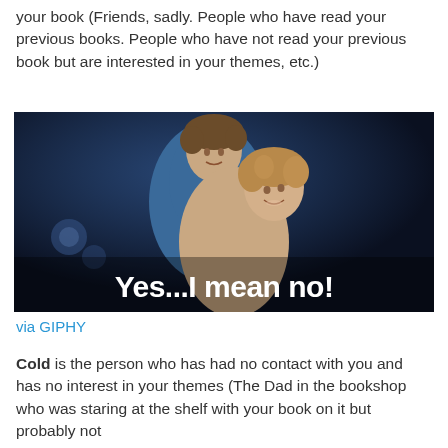your book (Friends, sadly. People who have read your previous books. People who have not read your previous book but are interested in your themes, etc.)
[Figure (photo): A still from a video/GIF showing a man and woman together in a romantic pose against a dark blue background, with the subtitle text 'Yes...I mean no!' overlaid in large white bold font at the bottom.]
via GIPHY
Cold is the person who has had no contact with you and has no interest in your themes (The Dad in the bookshop who was staring at the shelf with your book on it but probably not